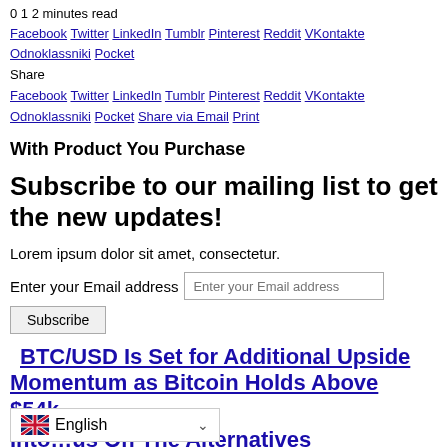0 1 2 minutes read
Facebook Twitter LinkedIn Tumblr Pinterest Reddit VKontakte Odnoklassniki Pocket
Share
Facebook Twitter LinkedIn Tumblr Pinterest Reddit VKontakte Odnoklassniki Pocket Share via Email Print
With Product You Purchase
Subscribe to our mailing list to get the new updates!
Lorem ipsum dolor sit amet, consectetur.
Enter your Email address [input] Subscribe
BTC/USD Is Set for Additional Upside Momentum as Bitcoin Holds Above $54k
Into ... us On The Alternatives
English